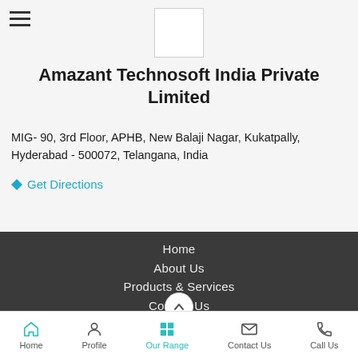[Figure (logo): Company logo placeholder box (white square with border)]
Amazant Technosoft India Private Limited
MIG- 90, 3rd Floor, APHB, New Balaji Nagar, Kukatpally, Hyderabad - 500072, Telangana, India
Get Directions
Home
About Us
Products & Services
Contact Us
Home   Profile   Our Range   Contact Us   Call Us